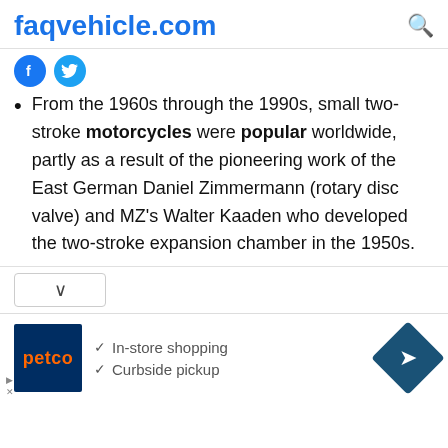faqvehicle.com
From the 1960s through the 1990s, small two-stroke motorcycles were popular worldwide, partly as a result of the pioneering work of the East German Daniel Zimmermann (rotary disc valve) and MZ's Walter Kaaden who developed the two-stroke expansion chamber in the 1950s.
[Figure (screenshot): Advertisement for Petco showing logo, In-store shopping and Curbside pickup checkmarks, and navigation arrow icon]